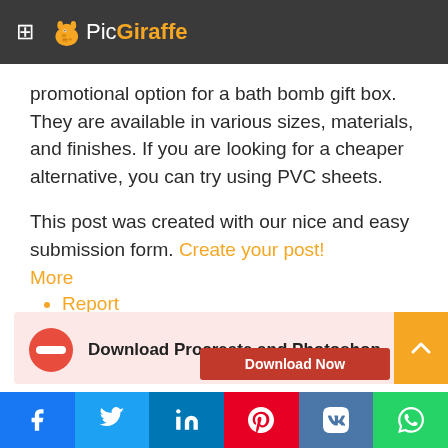PicGiraffe
promotional option for a bath bomb gift box. They are available in various sizes, materials, and finishes. If you are looking for a cheaper alternative, you can try using PVC sheets.
This post was created with our nice and easy submission form. Create your post!
More
Report
[Figure (infographic): Banner with red no-entry icon and text: Download Procreate and Photoshop, with a Download Now button]
Social sharing bar: Facebook, Twitter, LinkedIn, Pinterest, VK, WhatsApp